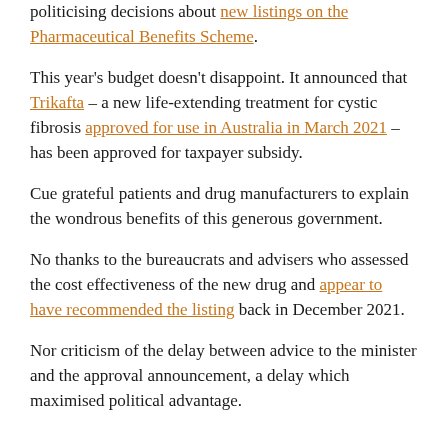politicising decisions about new listings on the Pharmaceutical Benefits Scheme.
This year's budget doesn't disappoint. It announced that Trikafta – a new life-extending treatment for cystic fibrosis approved for use in Australia in March 2021 – has been approved for taxpayer subsidy.
Cue grateful patients and drug manufacturers to explain the wondrous benefits of this generous government.
No thanks to the bureaucrats and advisers who assessed the cost effectiveness of the new drug and appear to have recommended the listing back in December 2021.
Nor criticism of the delay between advice to the minister and the approval announcement, a delay which maximised political advantage.